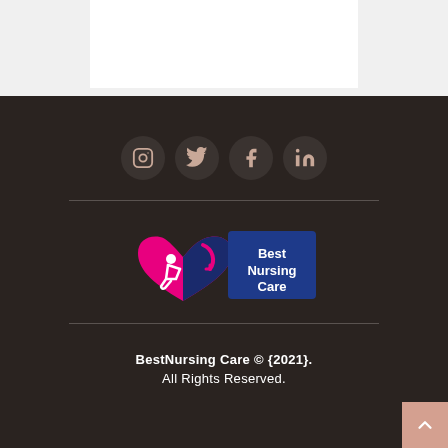[Figure (illustration): White content box at the top of the page on a light gray background]
[Figure (illustration): Social media icons in dark circles: Instagram, Twitter, Facebook, LinkedIn on dark brown background]
[Figure (logo): Best Nursing Care logo: pink heart with wheelchair accessibility symbol and blue rectangle with white text 'Best Nursing Care']
BestNursing Care © {2021}. All Rights Reserved.